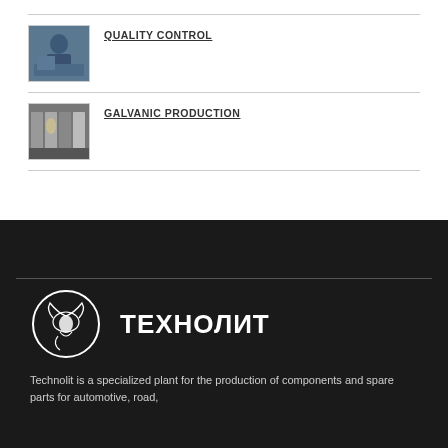QUALITY CONTROL
[Figure (photo): Photo of a worker at quality control station]
GALVANIC PRODUCTION
[Figure (photo): Photo of galvanic production equipment/machines in a row]
[Figure (logo): Technolit logo: circle with bird illustration and Cyrillic brand name ТЕХНОЛИТ]
Technolit is a specialized plant for the production of components and spare parts for automotive, road,